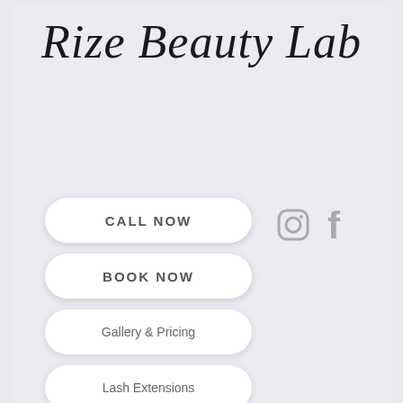Rize Beauty Lab
CALL NOW
BOOK NOW
Gallery & Pricing
Lash Extensions
Post   Sign Up
All Posts
ralbert850
Nov 28, 2021 · 4 min